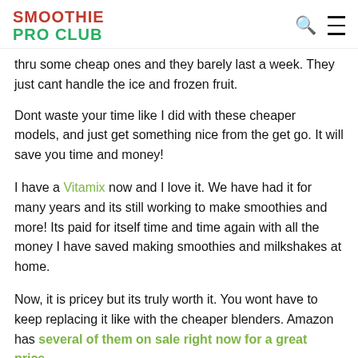SMOOTHIE PRO CLUB
thru some cheap ones and they barely last a week. They just cant handle the ice and frozen fruit.
Dont waste your time like I did with these cheaper models, and just get something nice from the get go. It will save you time and money!
I have a Vitamix now and I love it. We have had it for many years and its still working to make smoothies and more! Its paid for itself time and time again with all the money I have saved making smoothies and milkshakes at home.
Now, it is pricey but its truly worth it. You wont have to keep replacing it like with the cheaper blenders. Amazon has several of them on sale right now for a great price.